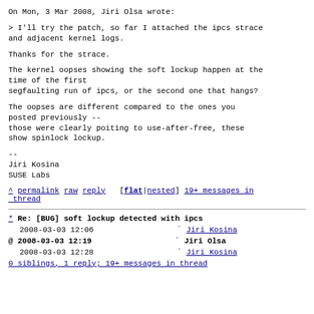On Mon, 3 Mar 2008, Jiri Olsa wrote:
> I'll try the patch, so far I attached the ipcs strace
and adjacent kernel logs.
Thanks for the strace.
The kernel oopses showing the soft lockup happen at the time of the first
segfaulting run of ipcs, or the second one that hangs?
The oopses are different compared to the ones you posted previously --
those were clearly poiting to use-after-free, these show spinlock lockup.
--
Jiri Kosina
SUSE Labs
^ permalink raw reply  [flat|nested] 19+ messages in thread
* Re: [BUG] soft lockup detected with ipcs
  2008-03-03 12:06                         ` Jiri Kosina
@ 2008-03-03 12:19                         ` Jiri Olsa
  2008-03-03 12:28                         ` Jiri Kosina
  0 siblings, 1 reply; 19+ messages in thread